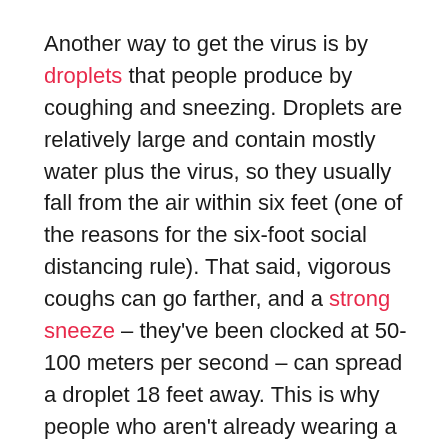Another way to get the virus is by droplets that people produce by coughing and sneezing. Droplets are relatively large and contain mostly water plus the virus, so they usually fall from the air within six feet (one of the reasons for the six-foot social distancing rule). That said, vigorous coughs can go farther, and a strong sneeze – they've been clocked at 50-100 meters per second – can spread a droplet 18 feet away. This is why people who aren't already wearing a mask because they are sick should cough or sneeze into their elbow.
Coughs and sneezes also produce aerosolized droplets that...